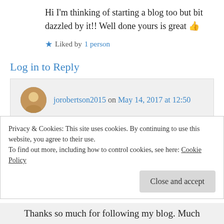Hi I'm thinking of starting a blog too but bit dazzled by it!! Well done yours is great 👍
★ Liked by 1 person
Log in to Reply
jorobertson2015 on May 14, 2017 at 12:50
Thank you! 😊
★ Liked by 1 person
Privacy & Cookies: This site uses cookies. By continuing to use this website, you agree to their use. To find out more, including how to control cookies, see here: Cookie Policy
Close and accept
Thanks so much for following my blog. Much